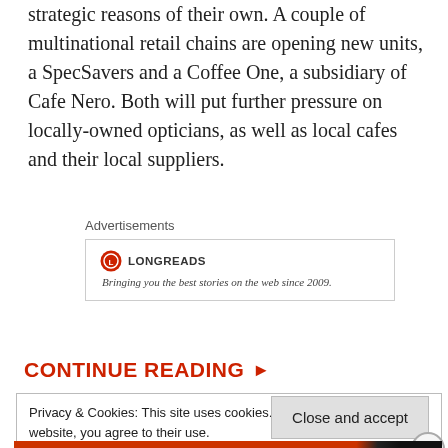strategic reasons of their own. A couple of multinational retail chains are opening new units, a SpecSavers and a Coffee One, a subsidiary of Cafe Nero. Both will put further pressure on locally-owned opticians, as well as local cafes and their local suppliers.
Advertisements
[Figure (logo): Longreads logo with red circle icon and text 'LONGREADS' followed by tagline 'Bringing you the best stories on the web since 2009.']
CONTINUE READING ▶
Privacy & Cookies: This site uses cookies. By continuing to use this website, you agree to their use.
To find out more, including how to control cookies, see here:
Cookie Policy
Close and accept